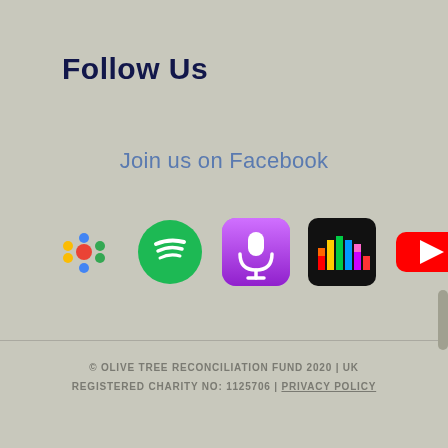Follow Us
Join us on Facebook
[Figure (logo): Row of five podcast/streaming platform icons: Google Podcasts (colored dots), Spotify (green circle with white bars), Apple Podcasts (purple microphone icon), Deezer (colorful bar chart on black), YouTube (red rectangle with white play button)]
© OLIVE TREE RECONCILIATION FUND 2020 | UK REGISTERED CHARITY NO: 1125706 | PRIVACY POLICY